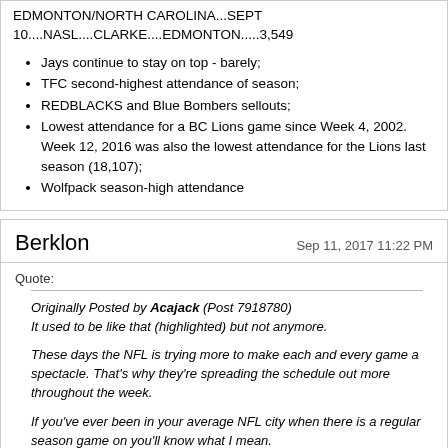EDMONTON/NORTH CAROLINA...SEPT 10....NASL....CLARKE....EDMONTON.....3,549
Jays continue to stay on top - barely;
TFC second-highest attendance of season;
REDBLACKS and Blue Bombers sellouts;
Lowest attendance for a BC Lions game since Week 4, 2002. Week 12, 2016 was also the lowest attendance for the Lions last season (18,107);
Wolfpack season-high attendance
Berklon
Sep 11, 2017 11:22 PM
Quote:
Originally Posted by Acajack (Post 7918780) It used to be like that (highlighted) but not anymore. These days the NFL is trying more to make each and every game a spectacle. That's why they're spreading the schedule out more throughout the week. If you've ever been in your average NFL city when there is a regular season game on you'll know what I mean. Every single game is increasingly a huge event in the city where it's taking place.